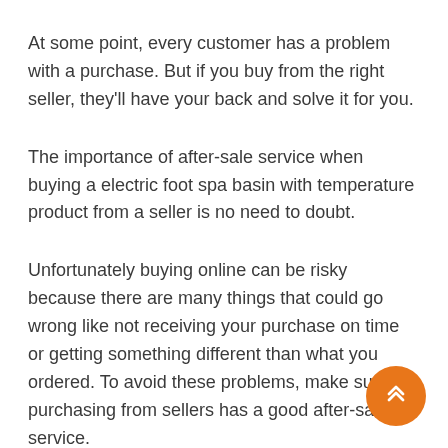At some point, every customer has a problem with a purchase. But if you buy from the right seller, they'll have your back and solve it for you.
The importance of after-sale service when buying a electric foot spa basin with temperature product from a seller is no need to doubt.
Unfortunately buying online can be risky because there are many things that could go wrong like not receiving your purchase on time or getting something different than what you ordered. To avoid these problems, make sure purchasing from sellers has a good after-sale service.
[Figure (other): Orange circular FAB button with double up-arrow chevron icon in bottom-right corner]